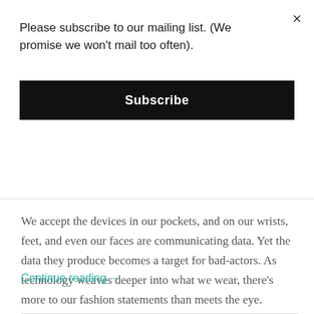Please subscribe to our mailing list. (We promise we won't mail too often).
Subscribe
We accept the devices in our pockets, and on our wrists, feet, and even our faces are communicating data. Yet the data they produce becomes a target for bad-actors. As technology weaves deeper into what we wear, there's more to our fashion statements than meets the eye.
Continue reading →